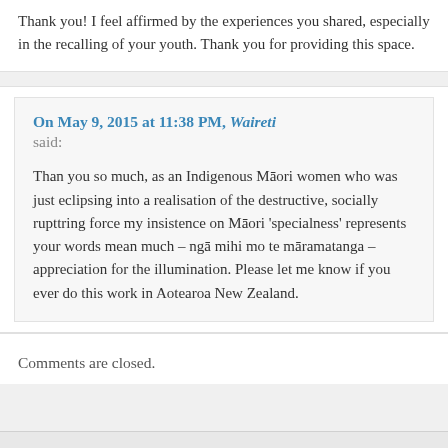Thank you! I feel affirmed by the experiences you shared, especially in the recalling of your youth. Thank you for providing this space.
On May 9, 2015 at 11:38 PM, Waireti said:
Than you so much, as an Indigenous Māori women who was just eclipsing into a realisation of the destructive, socially rupttring force my insistence on Māori 'specialness' represents your words mean much – ngā mihi mo te māramatanga – appreciation for the illumination. Please let me know if you ever do this work in Aotearoa New Zealand.
Comments are closed.